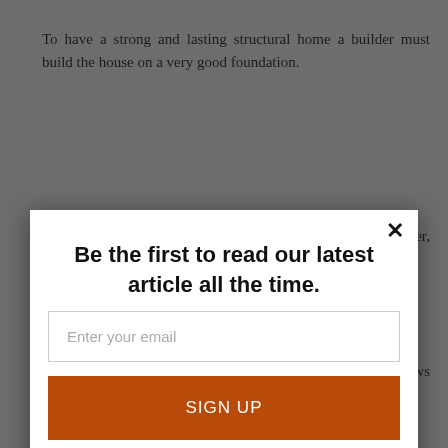To have a strong and lasting structural home a builder must build the house on a very good foundation.
[Figure (screenshot): Email subscription modal popup with title 'Be the first to read our latest article all the time.', an email input field, and an orange SIGN UP button. Powered by MailMunch branding at the bottom right.]
together as one, knowing that one is not better than the other, and they are both helpmates to one another..
God is the author of marriage, just like a manufacturer knows the products more than anyone else, only God knows